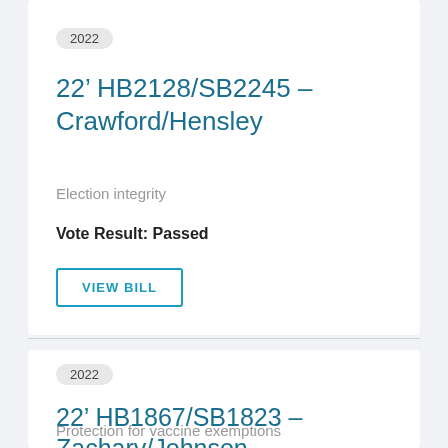2022
22’ HB2128/SB2245 – Crawford/Hensley
Election integrity
Vote Result: Passed
VIEW BILL
2022
22’ HB1867/SB1823 – Zachary/Johnson
Protection for vaccine exemptions